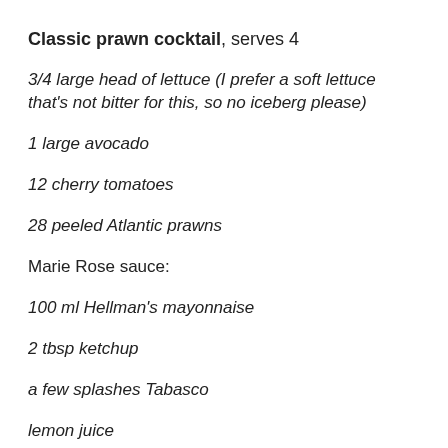Classic prawn cocktail, serves 4
3/4 large head of lettuce (I prefer a soft lettuce that's not bitter for this, so no iceberg please)
1 large avocado
12 cherry tomatoes
28 peeled Atlantic prawns
Marie Rose sauce:
100 ml Hellman's mayonnaise
2 tbsp ketchup
a few splashes Tabasco
lemon juice